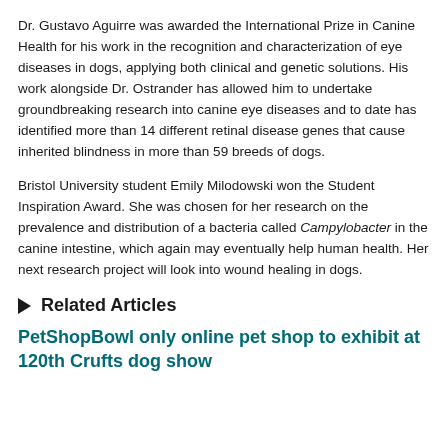Dr. Gustavo Aguirre was awarded the International Prize in Canine Health for his work in the recognition and characterization of eye diseases in dogs, applying both clinical and genetic solutions. His work alongside Dr. Ostrander has allowed him to undertake groundbreaking research into canine eye diseases and to date has identified more than 14 different retinal disease genes that cause inherited blindness in more than 59 breeds of dogs.
Bristol University student Emily Milodowski won the Student Inspiration Award. She was chosen for her research on the prevalence and distribution of a bacteria called Campylobacter in the canine intestine, which again may eventually help human health. Her next research project will look into wound healing in dogs.
▶ Related Articles
PetShopBowl only online pet shop to exhibit at 120th Crufts dog show